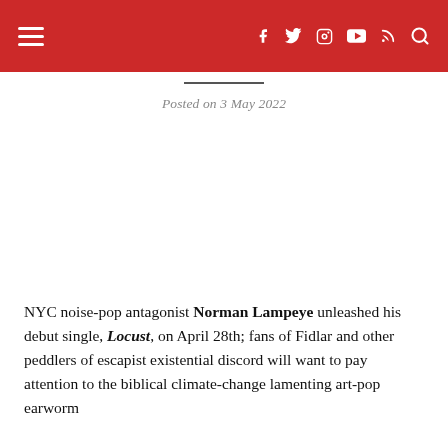≡  f  t  ⊡  ▶  ⊞  🔍
Posted on 3 May 2022
NYC noise-pop antagonist Norman Lampeye unleashed his debut single, Locust, on April 28th; fans of Fidlar and other peddlers of escapist existential discord will want to pay attention to the biblical climate-change lamenting art-pop earworm